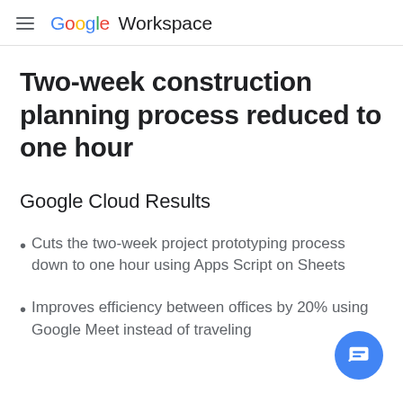Google Workspace
Two-week construction planning process reduced to one hour
Google Cloud Results
Cuts the two-week project prototyping process down to one hour using Apps Script on Sheets
Improves efficiency between offices by 20% using Google Meet instead of traveling